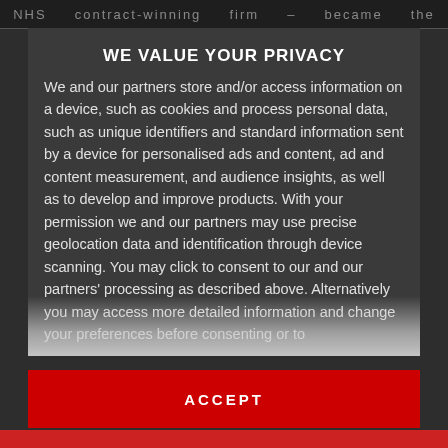NHS   contract-winning   firm   –   became   the
WE VALUE YOUR PRIVACY
We and our partners store and/or access information on a device, such as cookies and process personal data, such as unique identifiers and standard information sent by a device for personalised ads and content, ad and content measurement, and audience insights, as well as to develop and improve products. With your permission we and our partners may use precise geolocation data and identification through device scanning. You may click to consent to our and our partners' processing as described above. Alternatively you may access more detailed information and change your preferences before consenting or to
ACCEPT
MORE OPTIONS